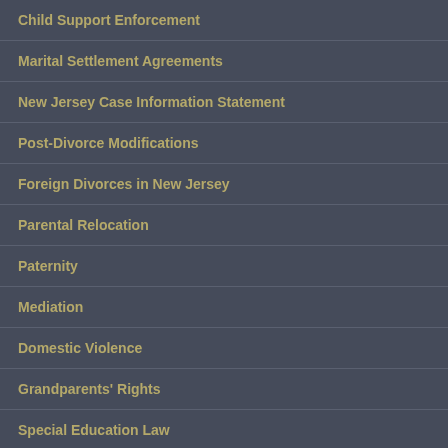Child Support Enforcement
Marital Settlement Agreements
New Jersey Case Information Statement
Post-Divorce Modifications
Foreign Divorces in New Jersey
Parental Relocation
Paternity
Mediation
Domestic Violence
Grandparents' Rights
Special Education Law